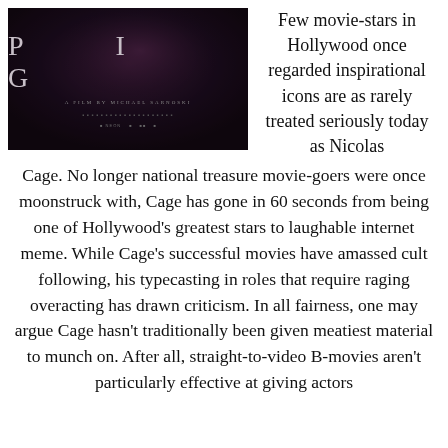[Figure (photo): Movie poster for 'PIG', a film by Michael Sarnoski. Dark, moody background with the title 'P I G' in large serif letters. Subtitle 'A Film by Michael Sarnoski' below.]
Few movie-stars in Hollywood once regarded inspirational icons are as rarely treated seriously today as Nicolas Cage. No longer national treasure movie-goers were once moonstruck with, Cage has gone in 60 seconds from being one of Hollywood’s greatest stars to laughable internet meme. While Cage’s successful movies have amassed cult following, his typecasting in roles that require raging overacting has drawn criticism. In all fairness, one may argue Cage hasn’t traditionally been given meatiest material to munch on. After all, straight-to-video B-movies aren’t particularly effective at giving actors